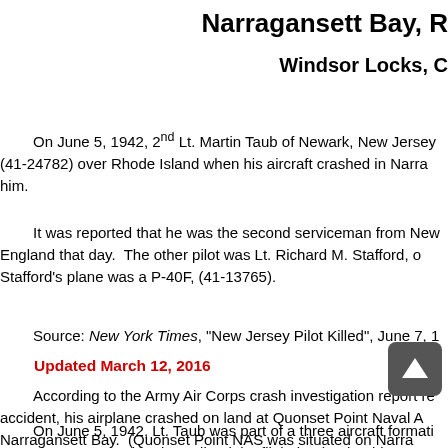Narragansett Bay, R[I]
Windsor Locks, C[T]
On June 5, 1942, 2nd Lt. Martin Taub of Newark, New Jersey (41-24782) over Rhode Island when his aircraft crashed in Narra[gansett Bay]. him.
It was reported that he was the second serviceman from New England that day. The other pilot was Lt. Richard M. Stafford, o[f ...]. Stafford's plane was a P-40F, (41-13765).
Source: New York Times, "New Jersey Pilot Killed", June 7, 1[942]
Updated March 12, 2016
According to the Army Air Corps crash investigation report re[lating to this] accident, his airplane crashed on land at Quonset Point Naval A[ir Station,] Narragansett Bay. (Quonset Point NAS was situated on Narra[gansett Bay].
On June 5, 1942, Lt. Taub was part of a three aircraft formati[on over] Narragansett Bay when he radioed the flight leader that his P-4[0]